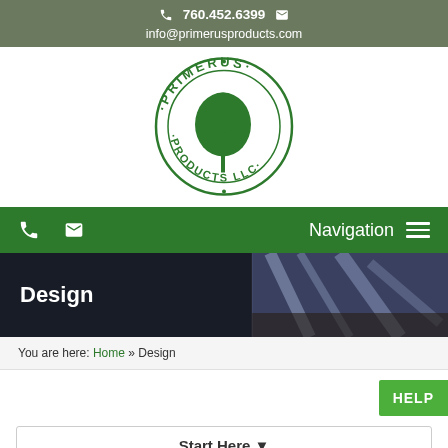760.452.6399  info@primerusproducts.com
[Figure (logo): Primerus Products LLC circular logo with a green tree in the center, text 'PRIMERUS' on top arc and 'PRODUCTS LLC' on bottom arc]
[Figure (infographic): Green navigation bar with phone icon, email icon on left, and Navigation menu icon on right]
[Figure (photo): Hero banner image of landscape/irrigation with dark overlay on left showing 'Design' text in white]
You are here: Home » Design
HELP
Start Here ▼